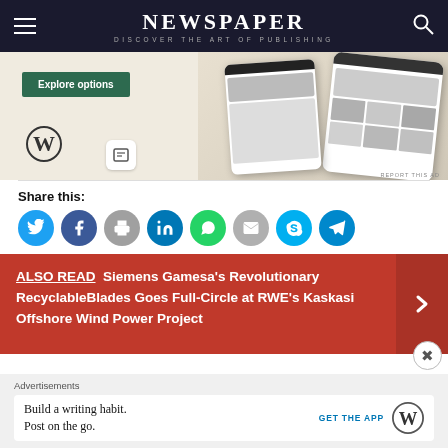NEWSPAPER — DISCOVER THE ART OF PUBLISHING
[Figure (screenshot): Advertisement showing a WordPress website builder with 'Explore options' button, WordPress logo, and mobile app mockups displaying food/recipe content]
Share this:
[Figure (infographic): Social share buttons: Twitter, Facebook, Print, LinkedIn, WhatsApp, Email, Skype, Telegram]
ALSO READ  Siemens Gamesa's Revolutionary RecyclableBlades Goes Full-Circle at RWE's Kaskasi Offshore Wind Power Project
Advertisements
[Figure (screenshot): WordPress app advertisement: 'Build a writing habit. Post on the go.' with GET THE APP button and WordPress logo]